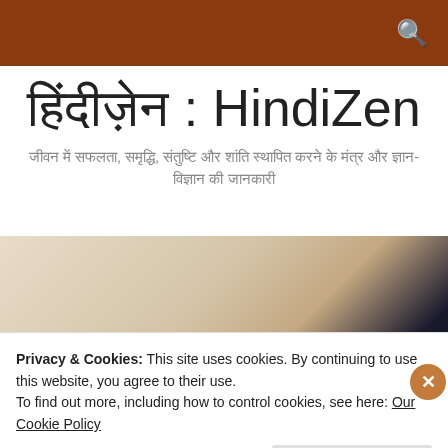HindiZen navigation bar with search icon
हिंदीज़ेन : HindiZen
जीवन में सफलता, समृद्धि, संतुष्टि और शांति स्थापित करने के मंत्र और ज्ञान-विज्ञान की जानकारी
[Figure (photo): Partial photo showing a light beige/parchment background on the left transitioning to a very dark navy/black on the right]
Privacy & Cookies: This site uses cookies. By continuing to use this website, you agree to their use.
To find out more, including how to control cookies, see here: Our Cookie Policy
Close and accept